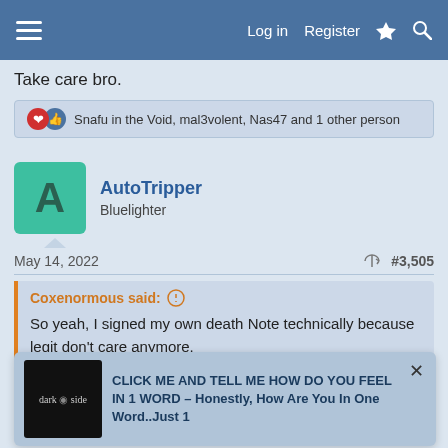Log in  Register
Take care bro.
Snafu in the Void, mal3volent, Nas47 and 1 other person
AutoTripper
Bluelighter
May 14, 2022  #3,505
Coxenormous said:
So yeah, I signed my own death Note technically because legit don't care anymore.
Try not to act too rashly though man.
These times are in
I'm livng perched on a dagger's edge myself, you wouldn't
[Figure (screenshot): Ad overlay: dark side image with text 'CLICK ME AND TELL ME HOW DO YOU FEEL IN 1 WORD – Honestly, How Are You In One Word..Just 1']